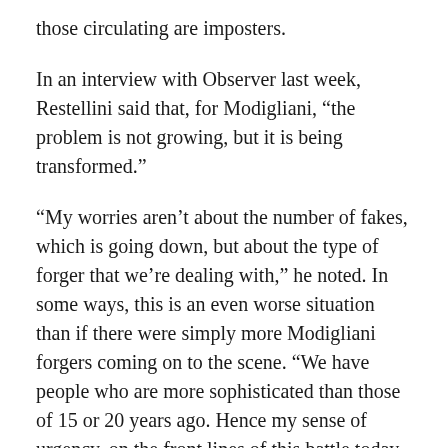those circulating are imposters.
In an interview with Observer last week, Restellini said that, for Modigliani, “the problem is not growing, but it is being transformed.”
“My worries aren’t about the number of fakes, which is going down, but about the type of forger that we’re dealing with,” he noted. In some ways, this is an even worse situation than if there were simply more Modigliani forgers coming on to the scene. “We have people who are more sophisticated than those of 15 or 20 years ago. Hence my sense of urgency, on the front lines of this battle today. I think that the scientific community [investigating art fakes] doesn’t realize this.”
Restellini contends. And the art world is, in